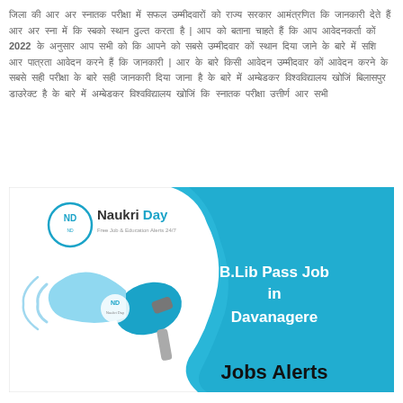Hindi paragraph text about B.Lib Pass Job in Davanagere with reference to 2022 recruitment and related information.
[Figure (illustration): Naukri Day promotional banner image showing a megaphone/loudspeaker graphic in blue, with text 'B.Lib Pass Job in Davanagere' in white on a teal/blue wave background, Naukri Day logo top-left, and 'Jobs Alerts' text at bottom in bold black.]